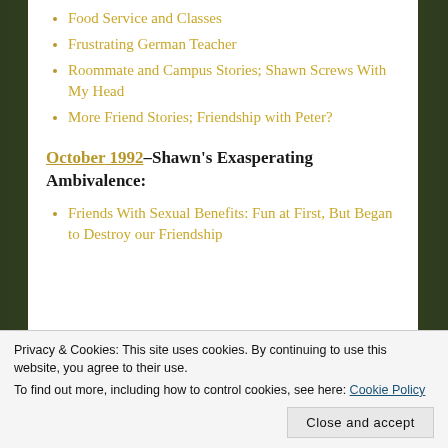Food Service and Classes
Frustrating German Teacher
Roommate and Campus Stories; Shawn Screws With My Head
More Friend Stories; Friendship with Peter?
October 1992–Shawn's Exasperating Ambivalence:
Friends With Sexual Benefits: Fun at First, But Began to Destroy our Friendship
Privacy & Cookies: This site uses cookies. By continuing to use this website, you agree to their use.
To find out more, including how to control cookies, see here: Cookie Policy